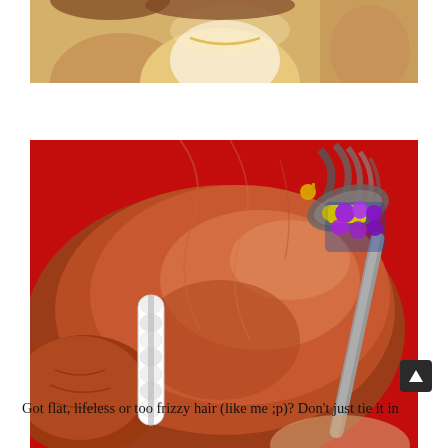[Figure (photo): Partial top photo showing people, one wearing a white garment with a gold necklace, against a warm background, cropped at the bottom edge.]
[Figure (photo): Close-up back-of-head photo of a person with reddish-brown hair against a red background. Hair is partially tied up with a white beaded clip/roller on the left side, and a decorative grey headband with a purple, yellow, and feathered gem accessory on the right side of the head.]
Got flat, lifeless or too frizzy hair (like me ;p)? Don't just tie it in